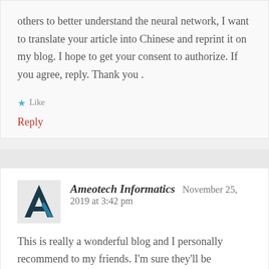others to better understand the neural network, I want to translate your article into Chinese and reprint it on my blog. I hope to get your consent to authorize. If you agree, reply. Thank you .
★ Like
Reply
[Figure (logo): Ameotech Informatics logo — stylized letter A in dark teal/black]
Ameotech Informatics   November 25, 2019 at 3:42 pm
This is really a wonderful blog and I personally recommend to my friends. I'm sure they'll be benefited from this site Keep update more excellent posts.